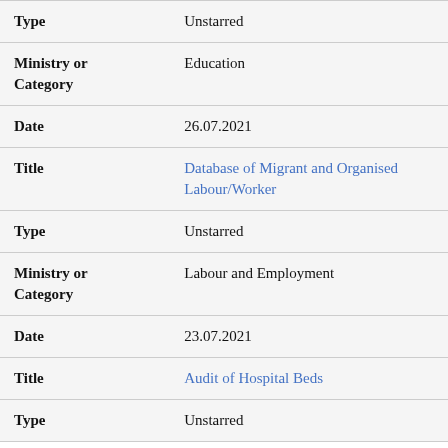| Field | Value |
| --- | --- |
| Type | Unstarred |
| Ministry or Category | Education |
| Date | 26.07.2021 |
| Title | Database of Migrant and Organised Labour/Worker |
| Type | Unstarred |
| Ministry or Category | Labour and Employment |
| Date | 23.07.2021 |
| Title | Audit of Hospital Beds |
| Type | Unstarred |